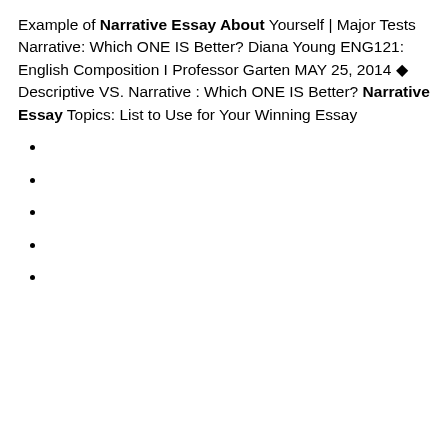Example of Narrative Essay About Yourself | Major Tests Narrative: Which ONE IS Better? Diana Young ENG121: English Composition I Professor Garten MAY 25, 2014 ◆ Descriptive VS. Narrative : Which ONE IS Better? Narrative Essay Topics: List to Use for Your Winning Essay